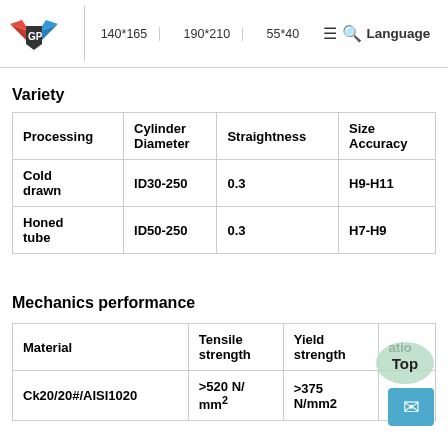Logo | 140*165 | 190*210 | 55*40 | Language
Variety
| Processing | Cylinder Diameter | Straightness | Size Accuracy |
| --- | --- | --- | --- |
| Cold drawn | ID30-250 | 0.3 | H9-H11 |
| Honed tube | ID50-250 | 0.3 | H7-H9 |
Mechanics performance
| Material | Tensile strength | Yield strength | Elongation ratio |
| --- | --- | --- | --- |
| Ck20/20#/AISI1020 | >520 N/mm² | >375 N/mm2 | > |